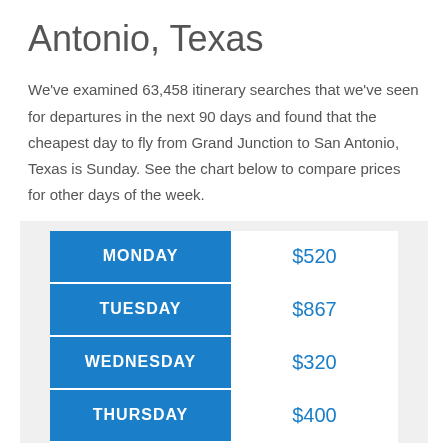Antonio, Texas
We've examined 63,458 itinerary searches that we've seen for departures in the next 90 days and found that the cheapest day to fly from Grand Junction to San Antonio, Texas is Sunday. See the chart below to compare prices for other days of the week.
| Day | Price |
| --- | --- |
| MONDAY | $520 |
| TUESDAY | $867 |
| WEDNESDAY | $320 |
| THURSDAY | $400 |